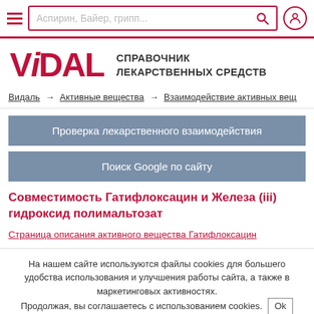Аспирин, Байер, грипп...
[Figure (logo): VIDAL logo with text СПРАВОЧНИК ЛЕКАРСТВЕННЫХ СРЕДСТВ]
Видаль → Активные вещества → Взаимодействие активных вещ
Проверка лекарственного взаимодействия
Поиск Google по сайту
Совместимость Гатифлоксацин и Железа (iii) гидроксид полимальтозат
Страница описания активного вещества Гатифлоксацин
На нашем сайте используются файлы cookies для большего удобства использования и улучшения работы сайта, а также в маркетинговых активностях. Продолжая, вы соглашаетесь с использованием cookies. Ok